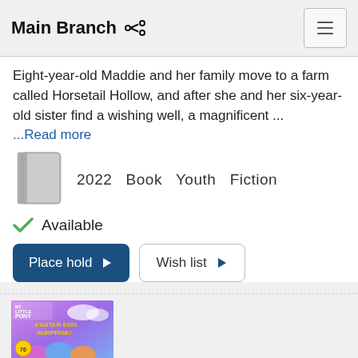Main Branch
Eight-year-old Maddie and her family move to a farm called Horsetail Hollow, and after she and her six-year-old sister find a wishing well, a magnificent ...
...Read more
2022  Book  Youth  Fiction
Available
Place hold
Wish list
[Figure (illustration): My Little Pony Easter Egg Surprise book cover with colorful ponies]